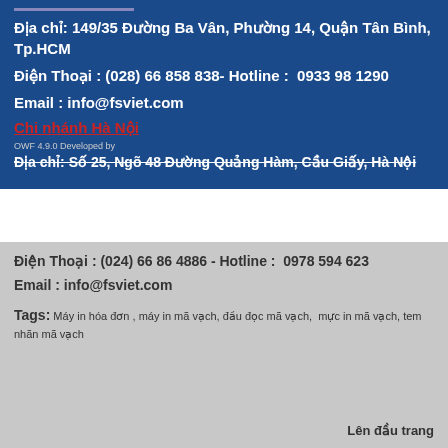Địa chỉ: 149/35 Đường Ba Vân, Phường 14, Quận Tân Bình, Tp.HCM
Điện Thoại : (028) 66 858 838- Hotline :  0933 98 1290
Email : info@fsviet.com
Chi nhánh Hà Nội
OWF 4.9.0 Developed by
Địa chỉ: Số 25, Ngõ 48 Đường Quảng Hàm, Cầu Giấy, Hà Nội
Điện Thoại : (024) 66 86 4886 - Hotline :  0978 594 623
Email : info@fsviet.com
Tags: Máy in hóa đơn , máy in mã vạch, đầu đọc mã vạch,  mực in mã vạch, tem nhãn mã vạch
Lên đầu trang